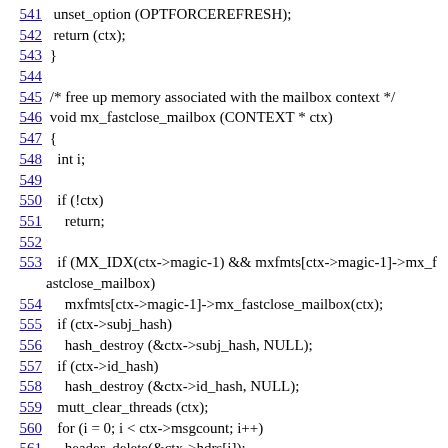541   unset_option (OPTFORCEREFRESH);
542   return (ctx);
543 }
544
545 /* free up memory associated with the mailbox context */
546 void mx_fastclose_mailbox (CONTEXT * ctx)
547 {
548   int i;
549
550   if (!ctx)
551     return;
552
553   if (MX_IDX(ctx->magic-1) && mxfmts[ctx->magic-1]->mx_fastclose_mailbox)
554     mxfmts[ctx->magic-1]->mx_fastclose_mailbox(ctx);
555   if (ctx->subj_hash)
556     hash_destroy (&ctx->subj_hash, NULL);
557   if (ctx->id_hash)
558     hash_destroy (&ctx->id_hash, NULL);
559   mutt_clear_threads (ctx);
560   for (i = 0; i < ctx->msgcount; i++)
561     header_delete(&ctx->hdrs[i]);
562   p_delete(&ctx->hdrs);
563   p_delete(&ctx->v2r);
564